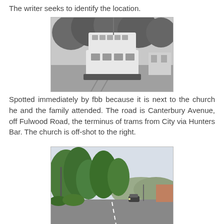The writer seeks to identify the location.
[Figure (photo): Black and white photograph of a double-decker tram on a tree-lined road.]
Spotted immediately by fbb because it is next to the church he and the family attended. The road is Canterbury Avenue, off Fulwood Road, the terminus of trams from City via Hunters Bar. The church is off-shot to the right.
[Figure (photo): Colour photograph of a road with trees, a car visible in the distance, and hills/buildings in the background.]